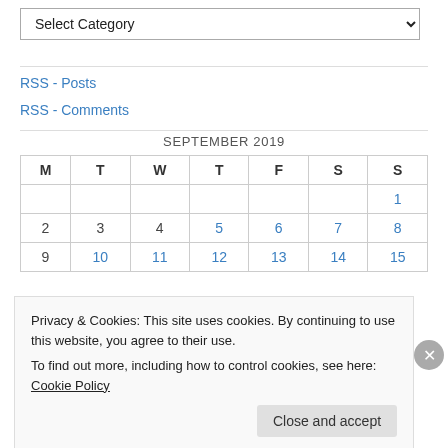Select Category (dropdown)
RSS - Posts
RSS - Comments
| M | T | W | T | F | S | S |
| --- | --- | --- | --- | --- | --- | --- |
|  |  |  |  |  |  | 1 |
| 2 | 3 | 4 | 5 | 6 | 7 | 8 |
| 9 | 10 | 11 | 12 | 13 | 14 | 15 |
Privacy & Cookies: This site uses cookies. By continuing to use this website, you agree to their use.
To find out more, including how to control cookies, see here: Cookie Policy
Close and accept